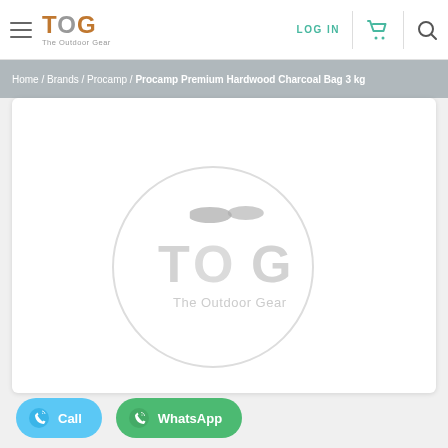TOG - The Outdoor Gear | LOG IN
Home / Brands / Procamp / Procamp Premium Hardwood Charcoal Bag 3 kg
[Figure (logo): TOG The Outdoor Gear watermark/placeholder logo circle in product image area]
Call  WhatsApp